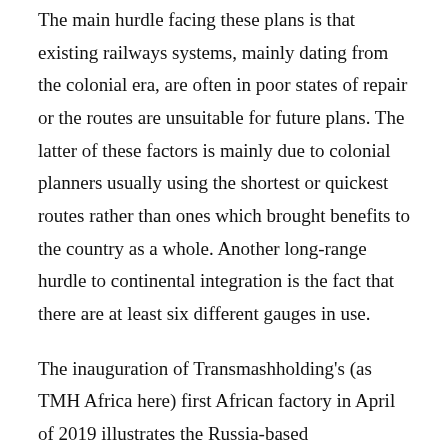The main hurdle facing these plans is that existing railways systems, mainly dating from the colonial era, are often in poor states of repair or the routes are unsuitable for future plans. The latter of these factors is mainly due to colonial planners usually using the shortest or quickest routes rather than ones which brought benefits to the country as a whole. Another long-range hurdle to continental integration is the fact that there are at least six different gauges in use.
The inauguration of Transmashholding's (as TMH Africa here) first African factory in April of 2019 illustrates the Russia-based conglomerates' commitment to expansion and investment across Africa and Company's president Andrey Bokarev business talent (a few months after a €1bn five-year contract between Egyptian National Railways and Transmashholding-Hungary  were signed in 2018.) The 45,000m² plant, situated in Boksburg, Gauteng, has been